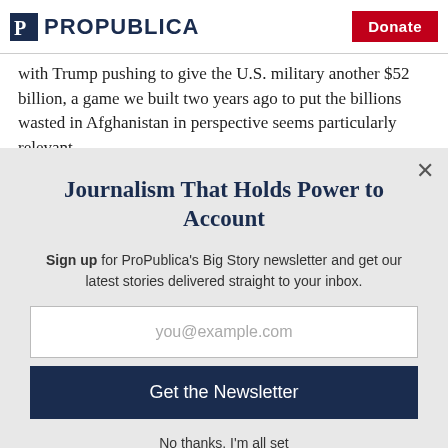ProPublica | Donate
with Trump pushing to give the U.S. military another $52 billion, a game we built two years ago to put the billions wasted in Afghanistan in perspective seems particularly relevant.
Journalism That Holds Power to Account
Sign up for ProPublica's Big Story newsletter and get our latest stories delivered straight to your inbox.
you@example.com
Get the Newsletter
No thanks, I'm all set
This site is protected by reCAPTCHA and the Google Privacy Policy and Terms of Service apply.